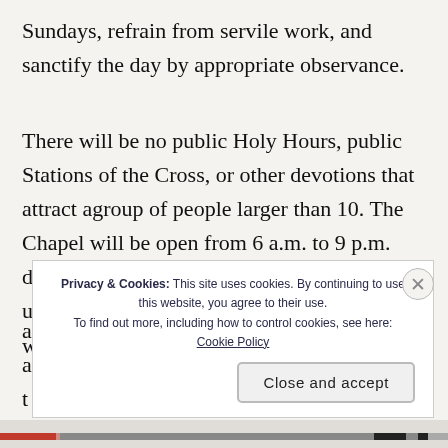Sundays, refrain from servile work, and sanctify the day by appropriate observance.
There will be no public Holy Hours, public Stations of the Cross, or other devotions that attract agroup of people larger than 10. The Chapel will be open from 6 a.m. to 9 p.m. daily, and I'm asking the parishioners to sign up for at least one Holy Hour a week – that way we would have continuous
Privacy & Cookies: This site uses cookies. By continuing to use this website, you agree to their use.
To find out more, including how to control cookies, see here: Cookie Policy
Close and accept